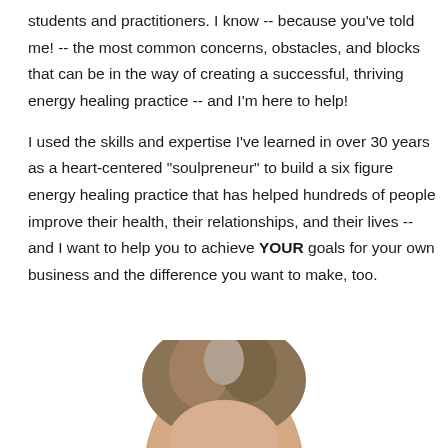students and practitioners. I know -- because you've told me! -- the most common concerns, obstacles, and blocks that can be in the way of creating a successful, thriving energy healing practice -- and I'm here to help!
I used the skills and expertise I've learned in over 30 years as a heart-centered "soulpreneur" to build a six figure energy healing practice that has helped hundreds of people improve their health, their relationships, and their lives -- and I want to help you to achieve YOUR goals for your own business and the difference you want to make, too.
[Figure (photo): Partial view of a woman's head and upper face, cropped at the bottom of the page. Brown/gray hair visible.]